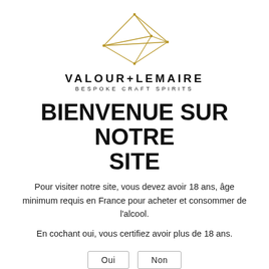[Figure (logo): Valour+Lemaire geometric diamond/crystal logo in gold lines with dots at vertices]
VALOUR+LEMAIRE
BESPOKE CRAFT SPIRITS
BIENVENUE SUR NOTRE SITE
Pour visiter notre site, vous devez avoir 18 ans, âge minimum requis en France pour acheter et consommer de l'alcool.
En cochant oui, vous certifiez avoir plus de 18 ans.
Oui   Non